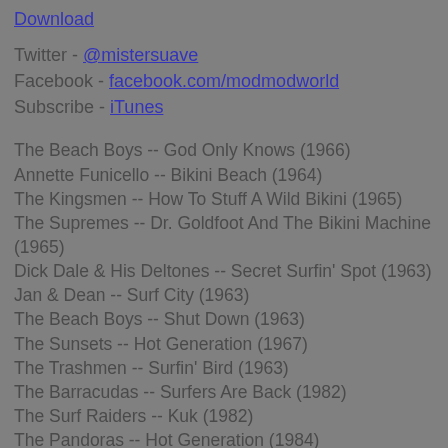Download
Twitter - @mistersuave
Facebook - facebook.com/modmodworld
Subscribe - iTunes
The Beach Boys -- God Only Knows (1966)
Annette Funicello -- Bikini Beach (1964)
The Kingsmen -- How To Stuff A Wild Bikini (1965)
The Supremes -- Dr. Goldfoot And The Bikini Machine (1965)
Dick Dale & His Deltones -- Secret Surfin' Spot (1963)
Jan & Dean -- Surf City (1963)
The Beach Boys -- Shut Down (1963)
The Sunsets -- Hot Generation (1967)
The Trashmen -- Surfin' Bird (1963)
The Barracudas -- Surfers Are Back (1982)
The Surf Raiders -- Kuk (1982)
The Pandoras -- Hot Generation (1984)
Jon & The Nightriders -- Rumble At Waikiki (Live At The Whiskey A-Go-Go) (1981)